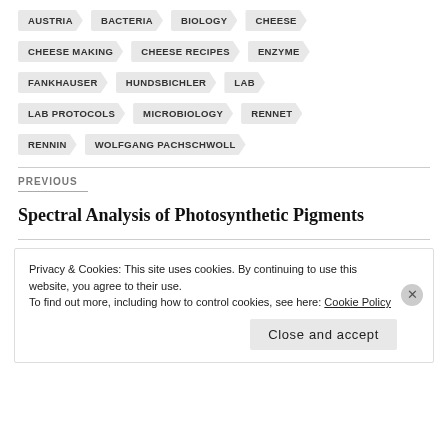AUSTRIA
BACTERIA
BIOLOGY
CHEESE
CHEESE MAKING
CHEESE RECIPES
ENZYME
FANKHAUSER
HUNDSBICHLER
LAB
LAB PROTOCOLS
MICROBIOLOGY
RENNET
RENNIN
WOLFGANG PACHSCHWOLL
PREVIOUS
Spectral Analysis of Photosynthetic Pigments
Privacy & Cookies: This site uses cookies. By continuing to use this website, you agree to their use.
To find out more, including how to control cookies, see here: Cookie Policy
Close and accept